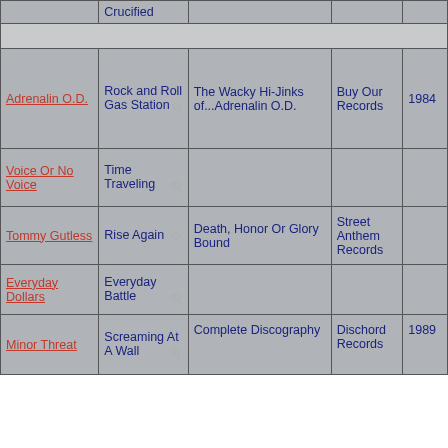| Artist | Song | Album | Label | Year |
| --- | --- | --- | --- | --- |
|  | Crucified |  |  |  |
|  |  |  |  |  |
| Adrenalin O.D. | Rock and Roll Gas Station | The Wacky Hi-Jinks of...Adrenalin O.D. | Buy Our Records | 1984 |
| Voice Or No Voice | Time Traveling |  |  |  |
| Tommy Gutless | Rise Again | Death, Honor Or Glory Bound | Street Anthem Records |  |
| Everyday Dollars | Everyday Battle |  |  |  |
| Minor Threat | Screaming At A Wall | Complete Discography | Dischord Records | 1989 |